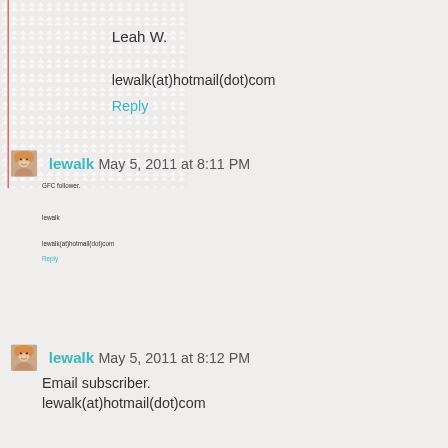Leah W.
lewalk(at)hotmail(dot)com
Reply
lewalk  May 5, 2011 at 8:11 PM
GFC follower.
lewalk
lewalk(at)hotmail(dot)com
Reply
lewalk  May 5, 2011 at 8:12 PM
Email subscriber.
lewalk(at)hotmail(dot)com